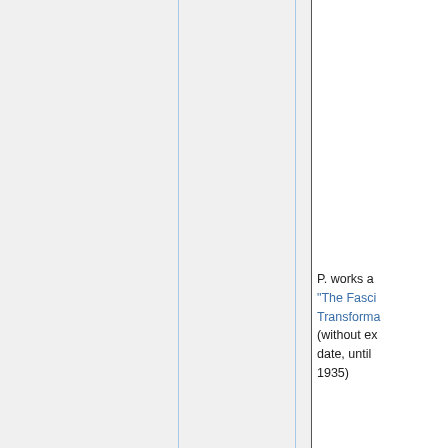P. works a… “The Fasci… Transforma… (without ex… date, until … 1935)